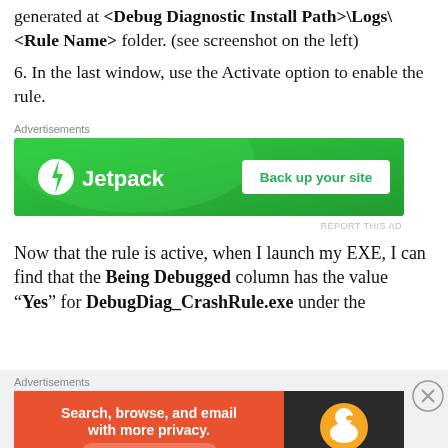generated at <Debug Diagnostic Install Path>\Logs\<Rule Name> folder. (see screenshot on the left)
6. In the last window, use the Activate option to enable the rule.
[Figure (screenshot): Jetpack advertisement banner with green background, bolt icon, Jetpack text and 'Back up your site' button]
Now that the rule is active, when I launch my EXE, I can find that the Being Debugged column has the value “Yes” for DebugDiag_CrashRule.exe under the
[Figure (screenshot): DuckDuckGo advertisement banner with orange background and duck logo, text: Search, browse, and email with more privacy. All in One Free App]